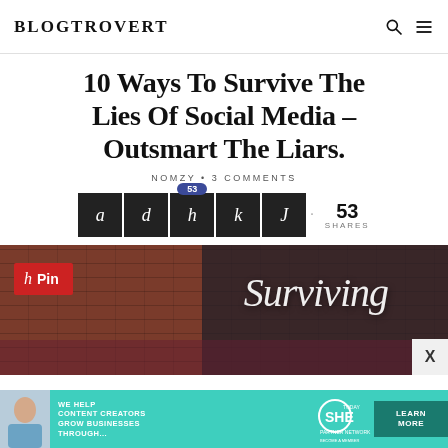BLOGTROVERT
10 Ways To Survive The Lies Of Social Media – Outsmart The Liars.
NOMZY • 3 COMMENTS
[Figure (infographic): Social sharing buttons row: five dark square buttons labeled a, d, h, k, J with a badge showing 53 on the h button, followed by 53 SHARES count]
[Figure (photo): Featured article image showing a brick wall background with dark metal bars on the right, a red Pin button overlay on the left, and 'Surviving' in white script text in the center-right area]
[Figure (infographic): Advertisement banner: teal background with text 'WE HELP CONTENT CREATORS GROW BUSINESSES THROUGH...' with SHE partner network logo and LEARN MORE button]